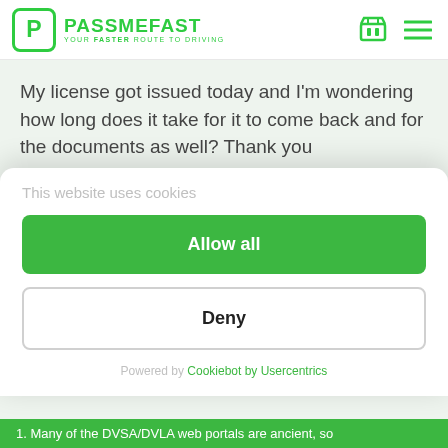PassMeFast — Your Faster Route to Driving
My license got issued today and I'm wondering how long does it take for it to come back and for the documents as well? Thank you
1 year ago
This website uses cookies
Allow all
Deny
Powered by Cookiebot by Usercentrics
1. Many of the DVSA/DVLA web portals are ancient, so